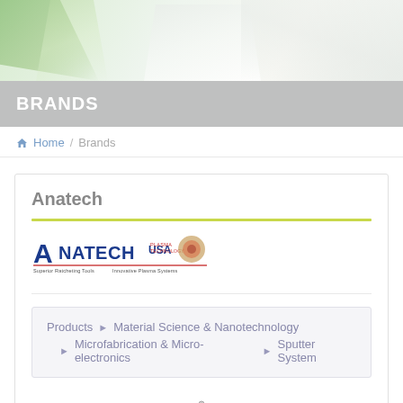[Figure (photo): Hero background with green geometric paper-fold shapes on light background]
BRANDS
Home / Brands
Anatech
[Figure (logo): Anatech USA Plasma Technology logo with tagline 'Superior Ratcheting Tools - Innovative Plasma Systems']
Products ▶ Material Science & Nanotechnology ▶ Microfabrication & Micro-electronics ▶ Sputter System
[Figure (photo): Small product image of a sputter system machine at bottom center]